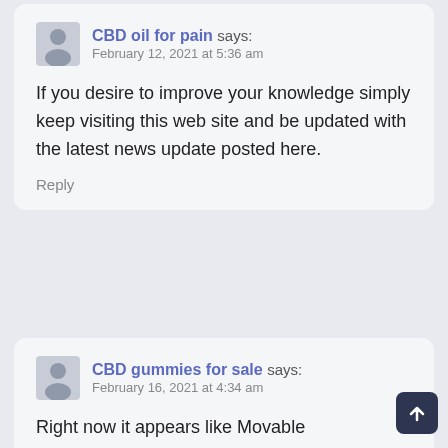CBD oil for pain says: February 12, 2021 at 5:36 am

If you desire to improve your knowledge simply keep visiting this web site and be updated with the latest news update posted here.

Reply
CBD gummies for sale says: February 16, 2021 at 4:34 am

Right now it appears like Movable